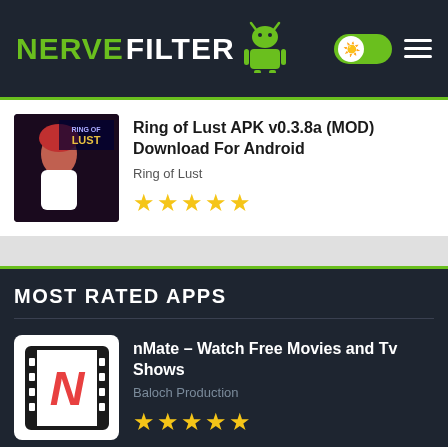NERVEFILTER
Ring of Lust APK v0.3.8a (MOD) Download For Android
Ring of Lust
[Figure (screenshot): Ring of Lust app thumbnail with character image]
[Figure (other): 5 gold star rating]
MOST RATED APPS
[Figure (screenshot): nMate app icon - film reel with N letter]
nMate – Watch Free Movies and Tv Shows
Baloch Production
[Figure (other): 5 gold star rating]
[Figure (screenshot): Instagram app icon - gradient camera]
Instagram MOD
Instagram